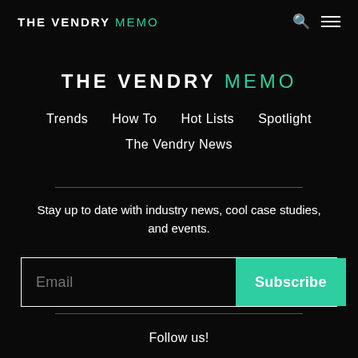THE VENDRY MEMO
THE VENDRY MEMO
Trends
How To
Hot Lists
Spotlight
The Vendry News
Stay up to date with industry news, cool case studies, and events.
Email | Subscribe
Follow us!